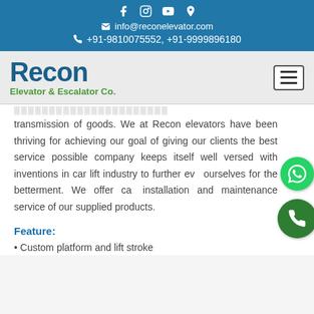info@reconelevator.com | +91-9810075552, +91-9999896180
[Figure (logo): Recon Elevator & Escalator Co. logo with navigation hamburger button]
transmission of goods. We at Recon elevators have been thriving for achieving our goal of giving our clients the best service possible company keeps itself well versed with inventions in car lift industry to further evolve ourselves for the betterment. We offer complete installation and maintenance service of our supplied products.
Feature:
• Custom platform and lift stroke